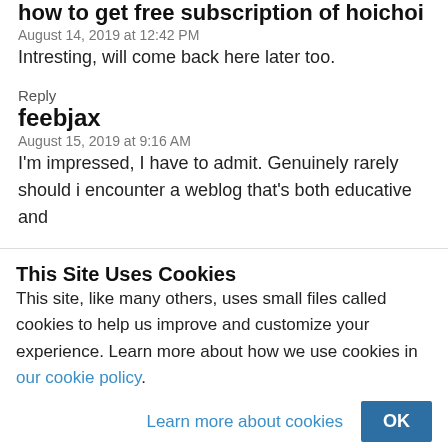how to get free subscription of hoichoi
August 14, 2019 at 12:42 PM
Intresting, will come back here later too.
Reply
feebjax
August 15, 2019 at 9:16 AM
I’m impressed, I have to admit. Genuinely rarely should i encounter a weblog that’s both educative and
This Site Uses Cookies
This site, like many others, uses small files called cookies to help us improve and customize your experience. Learn more about how we use cookies in our cookie policy.
Learn more about cookies
OK